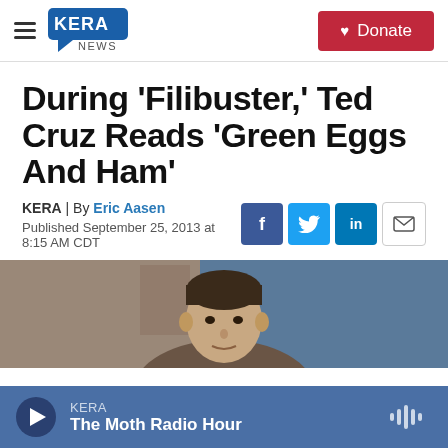KERA News | Donate
During 'Filibuster,' Ted Cruz Reads 'Green Eggs And Ham'
KERA | By Eric Aasen
Published September 25, 2013 at 8:15 AM CDT
[Figure (photo): Photo of Ted Cruz, a man with dark hair, partially visible from shoulders up, in front of a blurred background]
KERA — The Moth Radio Hour (audio player bar)